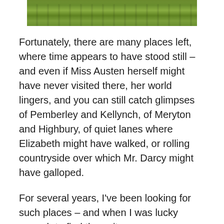[Figure (photo): A strip photograph showing green grass at the top of the page]
Fortunately, there are many places left, where time appears to have stood still – and even if Miss Austen herself might have never visited there, her world lingers, and you can still catch glimpses of Pemberley and Kellynch, of Meryton and Highbury, of quiet lanes where Elizabeth might have walked, or rolling countryside over which Mr. Darcy might have galloped.
For several years, I've been looking for such places – and when I was lucky enough to find them, it was ever so easy to picture Jane Austen's characters in them! Not as figments of her imagination, but as people. Real people, who might have lived, laughed, danced and gossiped, fallen in and out of love, and endeavoured to be happy.